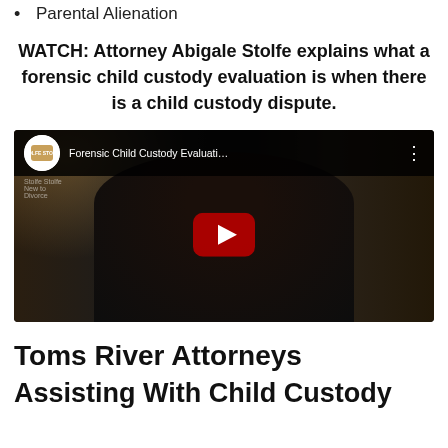Parental Alienation
WATCH: Attorney Abigale Stolfe explains what a forensic child custody evaluation is when there is a child custody dispute.
[Figure (screenshot): YouTube video thumbnail showing Attorney Abigale Stolfe with title 'Forensic Child Custody Evaluati...' and a red play button overlay on a dark background.]
Toms River Attorneys
Assisting With Child Custody